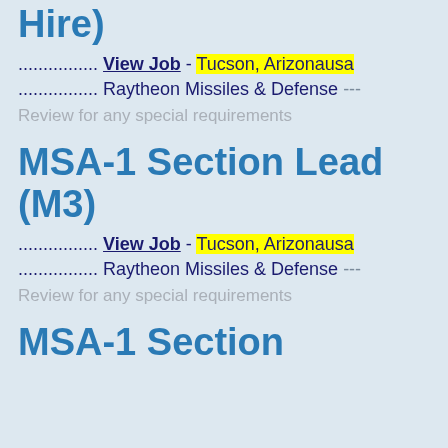Hire)
................ View Job - Tucson, Arizonausa
................ Raytheon Missiles & Defense --- Review for any special requirements
MSA-1 Section Lead (M3)
................ View Job - Tucson, Arizonausa
................ Raytheon Missiles & Defense --- Review for any special requirements
MSA-1 Section